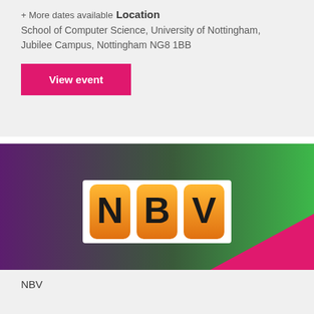+ More dates available
Location
School of Computer Science, University of Nottingham, Jubilee Campus, Nottingham NG8 1BB
View event
[Figure (logo): NBV logo on a purple-to-green gradient background with pink triangle, showing three orange tiles with letters N, B, V in black]
NBV